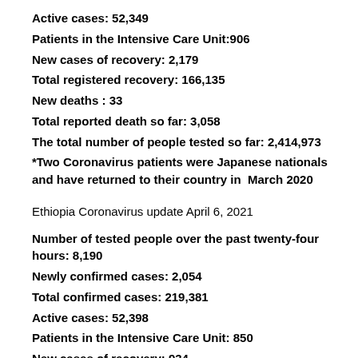Active cases: 52,349
Patients in the Intensive Care Unit:906
New cases of recovery: 2,179
Total registered recovery: 166,135
New deaths : 33
Total reported death so far: 3,058
The total number of people tested so far: 2,414,973
*Two Coronavirus patients were Japanese nationals and have returned to their country in  March 2020
Ethiopia Coronavirus update April 6, 2021
Number of tested people over the past twenty-four hours: 8,190
Newly confirmed cases: 2,054
Total confirmed cases: 219,381
Active cases: 52,398
Patients in the Intensive Care Unit: 850
New cases of recovery: 934
Total registered recovery: 163,956